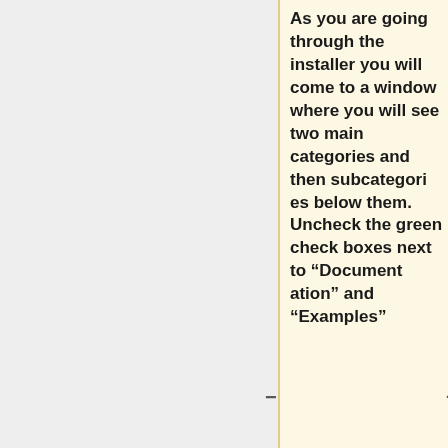As you are going through the installer you will come to a window where you will see two main categories and then subcategories below them. Uncheck the green check boxes next to "Documentation" and "Examples"
# Include custom file if it exists